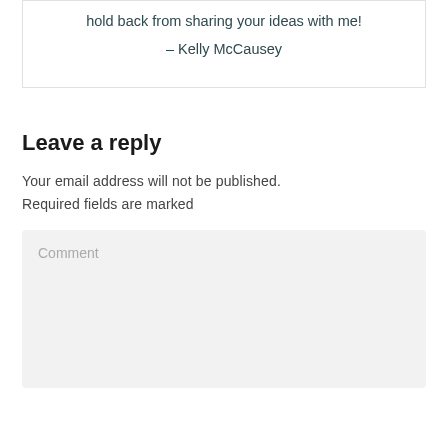hold back from sharing your ideas with me!
– Kelly McCausey
Leave a reply
Your email address will not be published. Required fields are marked
Comment